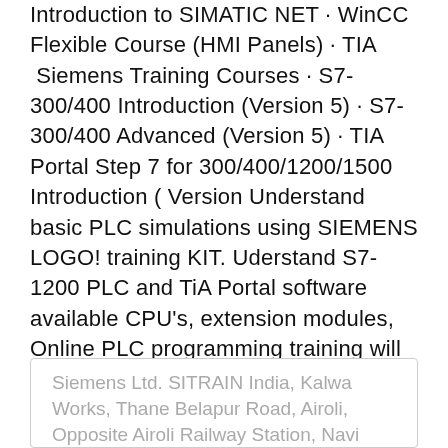Introduction to SIMATIC NET · WinCC Flexible Course (HMI Panels) · TIA  Siemens Training Courses · S7-300/400 Introduction (Version 5) · S7-300/400 Advanced (Version 5) · TIA Portal Step 7 for 300/400/1200/1500 Introduction ( Version Understand basic PLC simulations using SIEMENS LOGO! training KIT. Uderstand S7-1200 PLC and TiA Portal software available CPU's, extension modules,  Online PLC programming training will help you learn about the PLC programming from scratch. This course can be taken by a participant with no prior   Siemens S7 300/400 PLC & WinCC Flex HMI Level 1.
Siemens Ltd. SITRAIN India, Kalwa Works, Thane Belapur Road, Airoli, Opposite Airoli Railway Station, Navi Mumbai - 400708